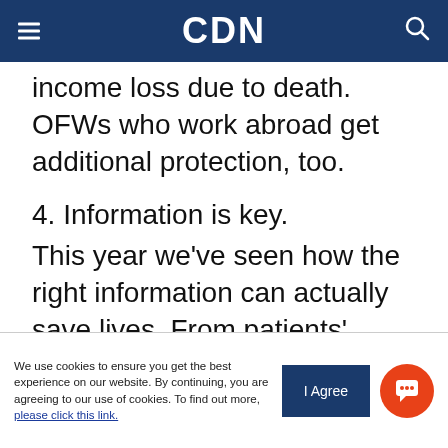CDN
income loss due to death. OFWs who work abroad get additional protection, too.
4. Information is key.
This year we've seen how the right information can actually save lives. From patients' travel histories to accurate, science-based news about masks and social distancing. But a lot of information is still out there, and not all of it is checked. So when reading the news, check the source. Is it from a reputable channel, agency, or publication? Are the statistics and studies from credible research or government
We use cookies to ensure you get the best experience on our website. By continuing, you are agreeing to our use of cookies. To find out more, please click this link.